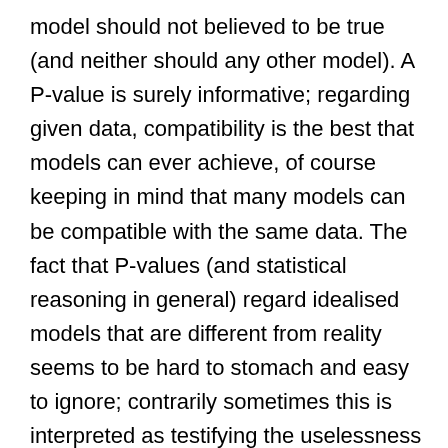model should not believed to be true (and neither should any other model). A P-value is surely informative; regarding given data, compatibility is the best that models can ever achieve, of course keeping in mind that many models can be compatible with the same data. The fact that P-values (and statistical reasoning in general) regard idealised models that are different from reality seems to be hard to stomach and easy to ignore; contrarily sometimes this is interpreted as testifying the uselessness of P-values (or frequentist statistical inference in